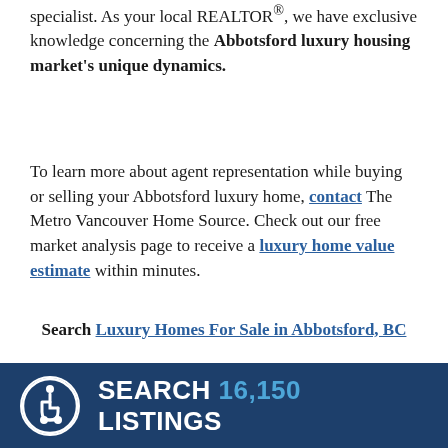specialist. As your local REALTOR®, we have exclusive knowledge concerning the Abbotsford luxury housing market's unique dynamics.
To learn more about agent representation while buying or selling your Abbotsford luxury home, contact The Metro Vancouver Home Source. Check out our free market analysis page to receive a luxury home value estimate within minutes.
Search Luxury Homes For Sale in Abbotsford, BC
Back to Abbotsford Homes For Sale
SEARCH 16,150 LISTINGS